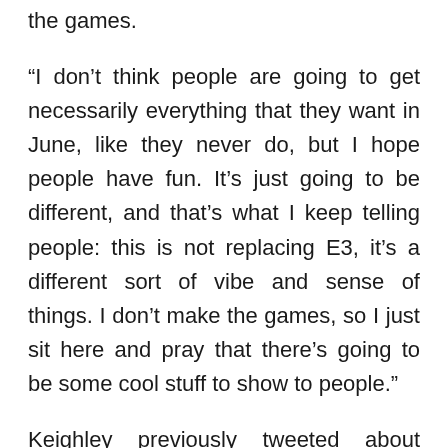the games.
“I don’t think people are going to get necessarily everything that they want in June, like they never do, but I hope people have fun. It’s just going to be different, and that’s what I keep telling people: this is not replacing E3, it’s a different sort of vibe and sense of things. I don’t make the games, so I just sit here and pray that there’s going to be some cool stuff to show to people.”
Keighley previously tweeted about being happy with regards to the amount of “raw gameplay” that would be showcased on June 9th. “Lots of trailers, but some really great gameplay sequences too!” We’ll just have to wait for more details and